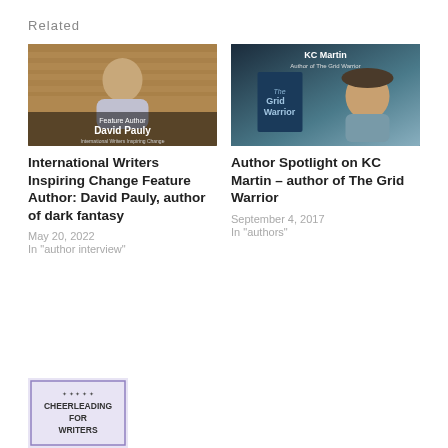Related
[Figure (photo): Feature Author David Pauly photo with wooden background and overlay text 'Feature Author David Pauly International Writers Inspiring Change']
International Writers Inspiring Change Feature Author: David Pauly, author of dark fantasy
May 20, 2022
In "author interview"
[Figure (photo): KC Martin Author of The Grid Warrior - photo showing book cover and author with cap and sunglasses outdoors]
Author Spotlight on KC Martin – author of The Grid Warrior
September 4, 2017
In "authors"
[Figure (photo): Book cover image for Cheerleading for Writers with decorative border]